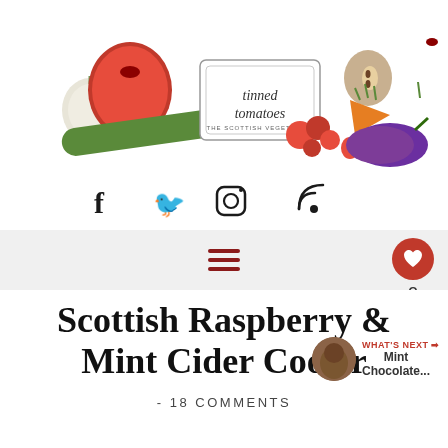[Figure (logo): Tinned Tomatoes - The Scottish Vegetarian blog header with illustrated vegetables and fruits including tomatoes, apple, carrot, eggplant, strawberries, garlic]
[Figure (illustration): Social media icons: Facebook (f), Twitter (bird), Instagram (camera), RSS (wifi signal)]
[Figure (infographic): Navigation bar with hamburger menu icon and like/share widget showing heart icon with count 2 and share button]
Scottish Raspberry & Mint Cider Cooler
- 18 COMMENTS